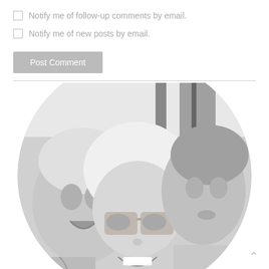Notify me of follow-up comments by email.
Notify me of new posts by email.
Post Comment
[Figure (photo): Black and white circular photo of a woman with sunglasses smiling, flanked by two children.]